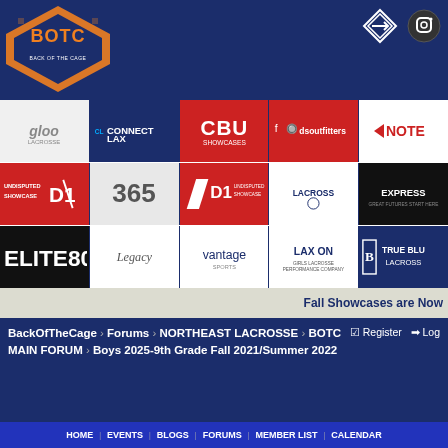[Figure (screenshot): BackOfTheCage website header with logo and sponsor logos grid. Navigation bar with HOME, EVENTS, BLOGS, FORUMS, MEMBER LIST, CALENDAR, ACTIVE THREADS, CONTACT US, COMMITMENT CENTER, HS SCORES. Breadcrumb: BackOfTheCage > Forums > NORTHEAST LACROSSE > BOTC MAIN FORUM > Boys 2025-9th Grade Fall 2021/Summer 2022. Fall Showcases are Now banner. Advertisement for Belk.com.]
Fall Showcases are Now
BackOfTheCage > Forums > NORTHEAST LACROSSE > BOTC MAIN FORUM > Boys 2025-9th Grade Fall 2021/Summer 2022
Register  Log
HOME   EVENTS   BLOGS   FORUMS   MEMBER LIST   CALENDAR   ACTIVE THREADS   CONTACT US   COMMITMENT CENTER   HS SCORES
Belk.com - Belk® - Official Site
Up To 40% Off Kids & Baby Apparel
www.belk.com